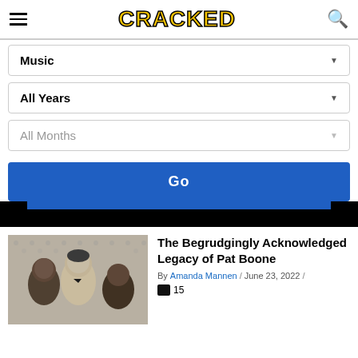CRACKED
Music ▼
All Years ▼
All Months ▼
Go
[Figure (photo): Black and white photograph of several people including Pat Boone at an event]
The Begrudgingly Acknowledged Legacy of Pat Boone
By Amanda Mannen / June 23, 2022 / 💬 15